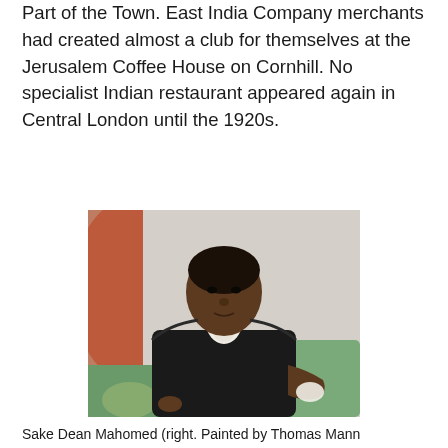Part of the Town. East India Company merchants had created almost a club for themselves at the Jerusalem Coffee House on Cornhill. No specialist Indian restaurant appeared again in Central London until the 1920s.
[Figure (photo): Portrait painting of Sake Dean Mahomed, a South Asian man in dark jacket with white cravat, seated against a green chair with a reddish drapery background.]
Sake Dean Mahomed (right. Painted by Thomas Mann